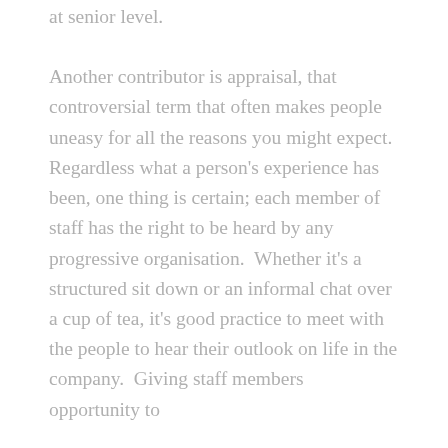at senior level.
Another contributor is appraisal, that controversial term that often makes people uneasy for all the reasons you might expect. Regardless what a person's experience has been, one thing is certain; each member of staff has the right to be heard by any progressive organisation.  Whether it's a structured sit down or an informal chat over a cup of tea, it's good practice to meet with the people to hear their outlook on life in the company.  Giving staff members opportunity to